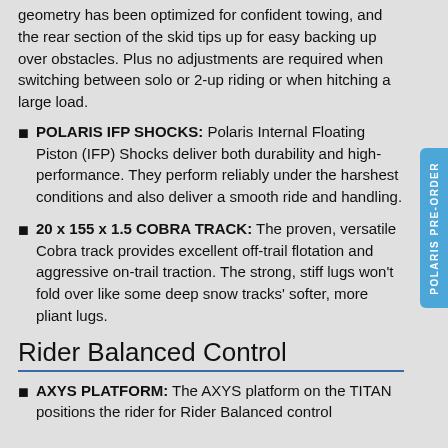geometry has been optimized for confident towing, and the rear section of the skid tips up for easy backing up over obstacles. Plus no adjustments are required when switching between solo or 2-up riding or when hitching a large load.
POLARIS IFP SHOCKS: Polaris Internal Floating Piston (IFP) Shocks deliver both durability and high-performance. They perform reliably under the harshest conditions and also deliver a smooth ride and handling.
20 x 155 x 1.5 COBRA TRACK: The proven, versatile Cobra track provides excellent off-trail flotation and aggressive on-trail traction. The strong, stiff lugs won't fold over like some deep snow tracks' softer, more pliant lugs.
Rider Balanced Control
AXYS PLATFORM: The AXYS platform on the TITAN positions the rider for Rider Balanced control